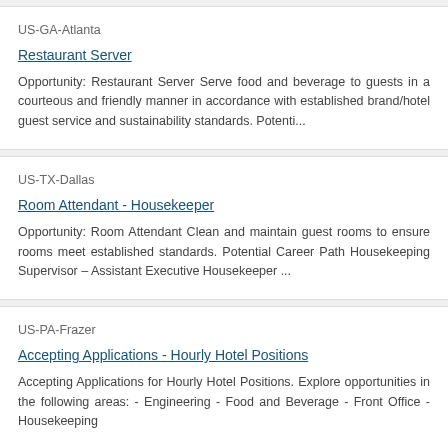US-GA-Atlanta
Restaurant Server
Opportunity: Restaurant Server   Serve food and beverage to guests in a courteous and friendly manner in accordance with established brand/hotel guest service and sustainability standards.   Potenti...
US-TX-Dallas
Room Attendant - Housekeeper
Opportunity: Room Attendant Clean and maintain guest rooms to ensure rooms meet established standards.   Potential Career Path Housekeeping Supervisor – Assistant Executive Housekeeper ...
US-PA-Frazer
Accepting Applications - Hourly Hotel Positions
Accepting Applications for Hourly Hotel Positions.         Explore opportunities in the following areas: - Engineering - Food and Beverage - Front Office - Housekeeping